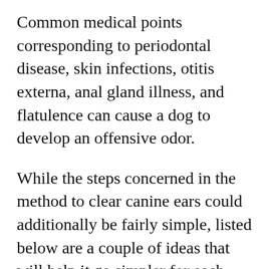Common medical points corresponding to periodontal disease, skin infections, otitis externa, anal gland illness, and flatulence can cause a dog to develop an offensive odor.
While the steps concerned in the method to clear canine ears could additionally be fairly simple, listed below are a couple of ideas that will help it go simpler for each you and your pooch. Look out for redness, irritation, a yeasty odor, and signs of pain when you pet or massage your canine around the ears. This gives you an thought of how soiled they’re and lets you examine for excess hair. If your canine has lots of